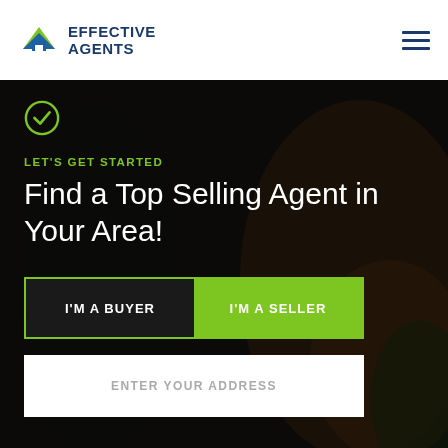[Figure (logo): Effective Agents logo with blue house/chevron icon and blue uppercase text EFFECTIVE AGENTS]
[Figure (illustration): Hamburger menu icon (three horizontal dark blue lines) in upper right corner]
[Figure (photo): Dark hero section overlaying a background photo of a person outdoors with warm orange/green tones. Contains a green checkmark circle icon at top.]
LET'S GET STARTED
Find a Top Selling Agent in Your Area!
I'M A BUYER | I'M A SELLER
ENTER YOUR ADDRESS